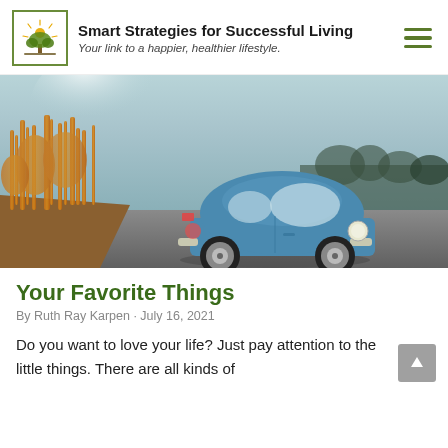Smart Strategies for Successful Living — Your link to a happier, healthier lifestyle.
[Figure (photo): A classic blue Volkswagen Beetle parked on a road with golden dry grass and reeds on the left side, grey sky in the background with trees visible on the right.]
Your Favorite Things
By Ruth Ray Karpen · July 16, 2021
Do you want to love your life?  Just pay attention to the little things. There are all kinds of